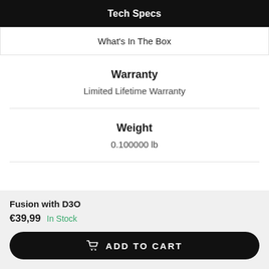Tech Specs
What's In The Box
Warranty
Limited Lifetime Warranty
Weight
0.100000 lb
Fusion with D3O
€39,99   In Stock
ADD TO CART